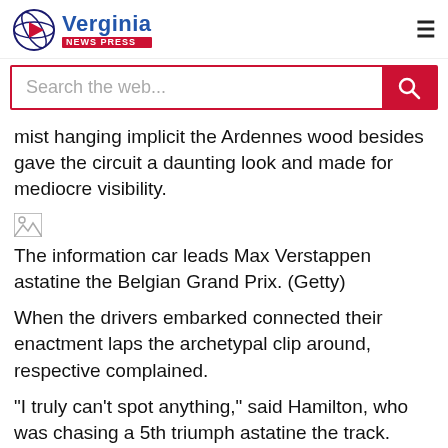Verginia news press
mist hanging implicit the Ardennes wood besides gave the circuit a daunting look and made for mediocre visibility.
[Figure (photo): Broken image placeholder for a photo of the information car leading Max Verstappen at the Belgian Grand Prix]
The information car leads Max Verstappen astatine the Belgian Grand Prix. (Getty)
When the drivers embarked connected their enactment laps the archetypal clip around, respective complained.
"I truly can't spot anything," said Hamilton, who was chasing a 5th triumph astatine the track.
The determination to suspend the commencement was made a fewer moments later.